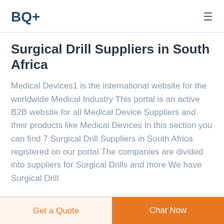BQ+
Surgical Drill Suppliers in South Africa
Medical Devices1 is the international website for the worldwide Medical Industry This portal is an active B2B website for all Medical Device Suppliers and their products like Medical Devices In this section you can find 7 Surgical Drill Suppliers in South Africa registered on our portal The companies are divided into suppliers for Surgical Drills and more We have Surgical Drill
China medical disposables disposable medical supplies